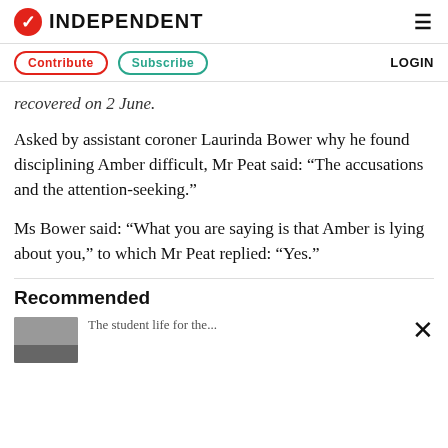INDEPENDENT
recovered on 2 June.
Asked by assistant coroner Laurinda Bower why he found disciplining Amber difficult, Mr Peat said: “The accusations and the attention-seeking.”
Ms Bower said: “What you are saying is that Amber is lying about you,” to which Mr Peat replied: “Yes.”
Recommended